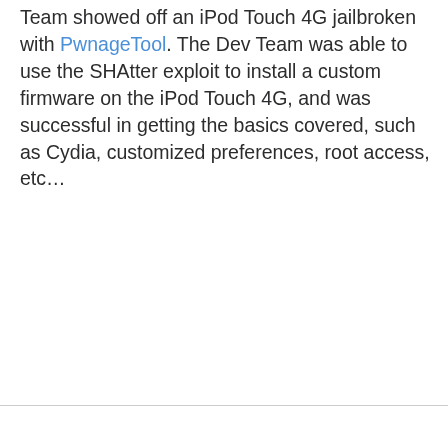Team showed off an iPod Touch 4G jailbroken with PwnageTool. The Dev Team was able to use the SHAtter exploit to install a custom firmware on the iPod Touch 4G, and was successful in getting the basics covered, such as Cydia, customized preferences, root access, etc…